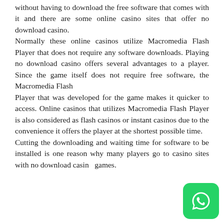without having to download the free software that comes with it and there are some online casino sites that offer no download casino. Normally these online casinos utilize Macromedia Flash Player that does not require any software downloads. Playing no download casino offers several advantages to a player. Since the game itself does not require free software, the Macromedia Flash Player that was developed for the game makes it quicker to access. Online casinos that utilizes Macromedia Flash Player is also considered as flash casinos or instant casinos due to the convenience it offers the player at the shortest possible time. Cutting the downloading and waiting time for software to be installed is one reason why many players go to casino sites with no download casino games.
[Figure (logo): WhatsApp logo icon — green rounded square with white phone handset symbol]